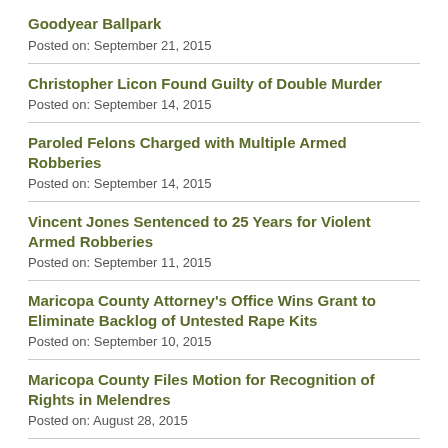Goodyear Ballpark
Posted on: September 21, 2015
Christopher Licon Found Guilty of Double Murder
Posted on: September 14, 2015
Paroled Felons Charged with Multiple Armed Robberies
Posted on: September 14, 2015
Vincent Jones Sentenced to 25 Years for Violent Armed Robberies
Posted on: September 11, 2015
Maricopa County Attorney's Office Wins Grant to Eliminate Backlog of Untested Rape Kits
Posted on: September 10, 2015
Maricopa County Files Motion for Recognition of Rights in Melendres
Posted on: August 28, 2015